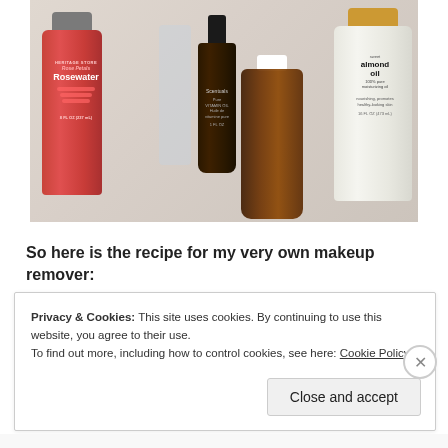[Figure (photo): A flat-lay photo of several skincare/beauty ingredient bottles on a white surface: Heritage Store Rose Petals Rosewater (red bottle), a small dark dropper bottle of vitamin E oil, an amber glass bottle, and a bottle of sweet almond oil 100% pure moisturizing oil.]
So here is the recipe for my very own makeup remover:
Privacy & Cookies: This site uses cookies. By continuing to use this website, you agree to their use.
To find out more, including how to control cookies, see here: Cookie Policy
Close and accept